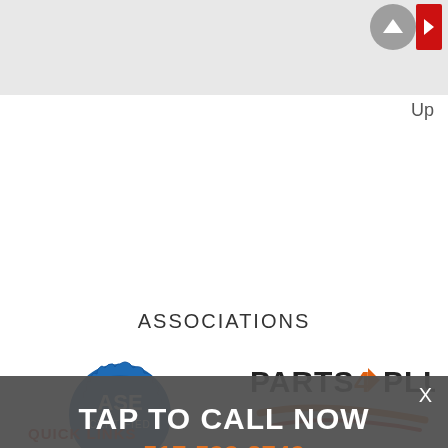[Figure (screenshot): Top grey banner area with navigation up button (circle with up arrow) and red right-arrow button]
Up
ASSOCIATIONS
[Figure (logo): ASE Certified blue gear/badge logo]
[Figure (logo): Parts Plus logo with orange swoosh]
TAP TO CALL NOW
517-592-3749
X
QUICK LINKS